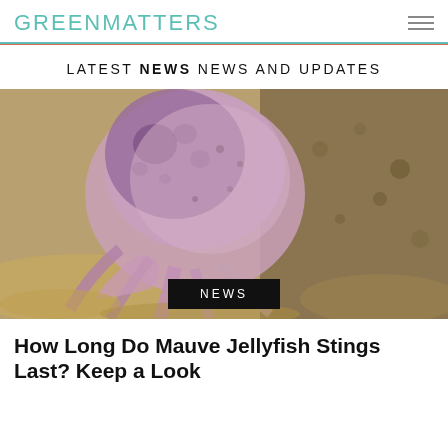GREEN MATTERS
LATEST NEWS NEWS AND UPDATES
[Figure (photo): Close-up photograph of a mauve jellyfish washed up on a rocky, sandy beach. The jellyfish has a translucent purple-pink bell with darker purple spots and trailing tentacles.]
NEWS
How Long Do Mauve Jellyfish Stings Last? Keep a Look